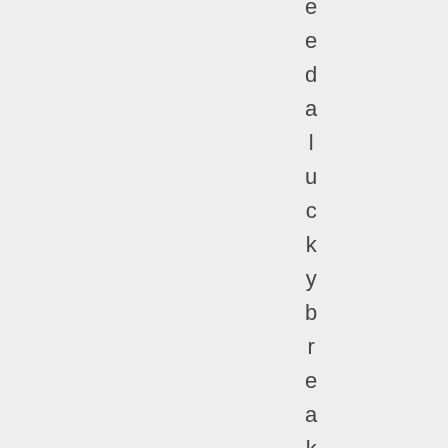e e d a l u c k y b r e a k ( a n